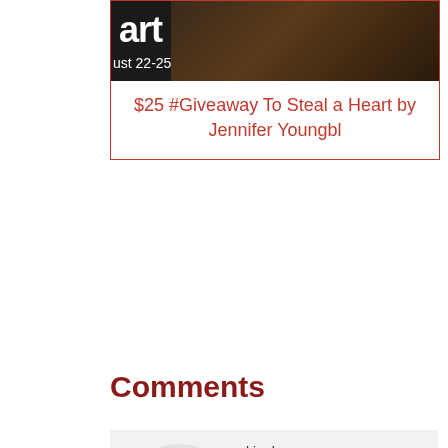[Figure (other): Book cover thumbnail showing dark background with partial text 'art' and 'ust 22-25']
$25 #Giveaway To Steal a Heart by Jennifer Youngbl
Comments
[Figure (illustration): Circular avatar icon with dark brown background showing a cartoon character with blue triangular body and glasses]
kim hansen says
October 1, 2019 at 3:50 am
Sounds good,